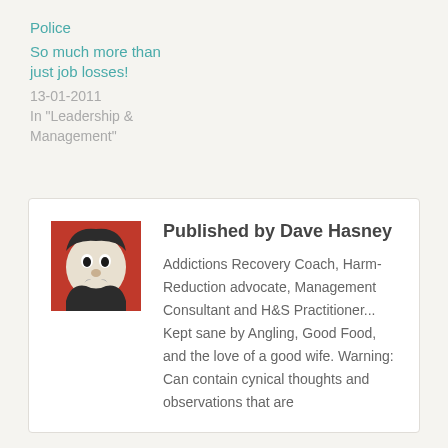Police
So much more than just job losses!
13-01-2011
In "Leadership & Management"
Published by Dave Hasney
[Figure (illustration): Avatar image of Dave Hasney - a stylized comic/cartoon face illustration with red background]
Addictions Recovery Coach, Harm-Reduction advocate, Management Consultant and H&S Practitioner... Kept sane by Angling, Good Food, and the love of a good wife. Warning: Can contain cynical thoughts and observations that are